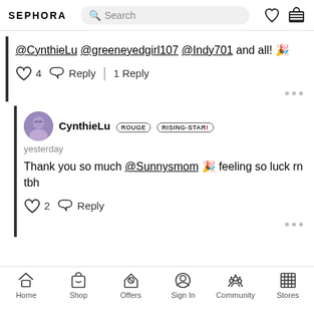SEPHORA — Search bar, heart icon, cart icon
@CynthieLu @greeneyedgirl107 @Indy701 and all! 🎉
♡ 4  ↩ Reply | 1 Reply
CynthieLu ROUGE RISING-STAR!
yesterday
Thank you so much @Sunnysmom 🎉 feeling so luck rn tbh
♡ 2  ↩ Reply
Home  Shop  Offers  Sign In  Community  Stores